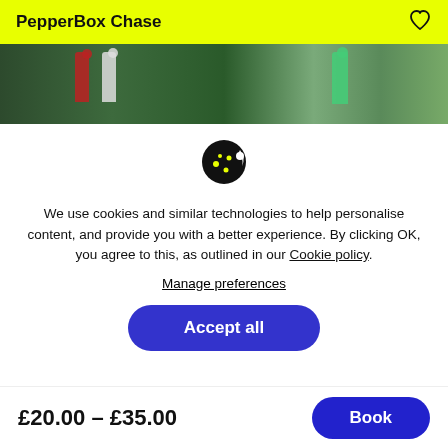PepperBox Chase
[Figure (photo): Hero banner showing trail runners in a forest setting, two runners visible on the left and one on the right]
We use cookies and similar technologies to help personalise content, and provide you with a better experience. By clicking OK, you agree to this, as outlined in our Cookie policy.
Manage preferences
Accept all
£20.00 – £35.00  Book